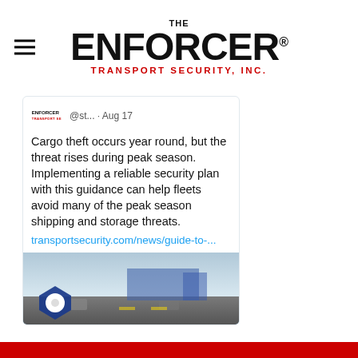[Figure (logo): The Enforcer Transport Security Inc. logo with hamburger menu icon]
[Figure (screenshot): Tweet from @st... on Aug 17 reading: 'Cargo theft occurs year round, but the threat rises during peak season. Implementing a reliable security plan with this guidance can help fleets avoid many of the peak season shipping and storage threats. transportsecurity.com/news/guide-to-...' with a thumbnail image of trucks on a highway]